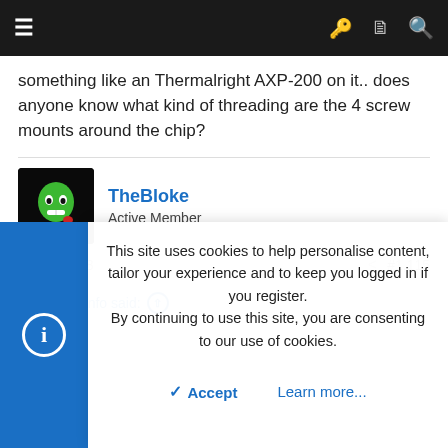Navigation bar with menu, key, document, and search icons
something like an Thermalright AXP-200 on it.. does anyone know what kind of threading are the 4 screw mounts around the chip?
TheBloke
Active Member
Sep 8, 2018
#1,115
fullstackinfo said: ↑
This site uses cookies to help personalise content, tailor your experience and to keep you logged in if you register.
By continuing to use this site, you are consenting to our use of cookies.
Accept    Learn more...